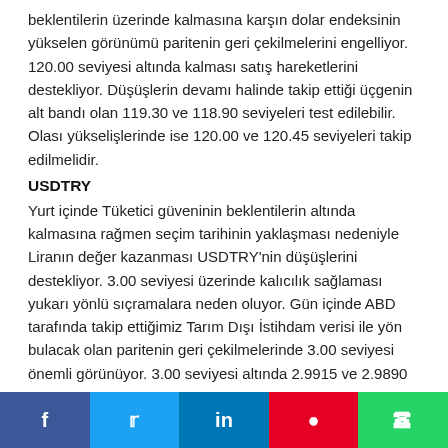beklentilerin üzerinde kalmasına karşın dolar endeksinin yükselen görünümü paritenin geri çekilmelerini engelliyor. 120.00 seviyesi altında kalması satış hareketlerini destekliyor. Düşüşlerin devamı halinde takip ettiği üçgenin alt bandı olan 119.30 ve 118.90 seviyeleri test edilebilir. Olası yükselişlerinde ise 120.00 ve 120.45 seviyeleri takip edilmelidir.
USDTRY
Yurt içinde Tüketici güveninin beklentilerin altında kalmasına rağmen seçim tarihinin yaklaşması nedeniyle Liranın değer kazanması USDTRY'nin düşüşlerini destekliyor. 3.00 seviyesi üzerinde kalıcılık sağlaması yukarı yönlü sıçramalara neden oluyor. Gün içinde ABD tarafında takip ettiğimiz Tarım Dışı İstihdam verisi ile yön bulacak olan paritenin geri çekilmelerinde 3.00 seviyesi önemli görünüyor. 3.00 seviyesi altında 2.9915 ve 2.9890
f  y  in  Pinterest  WhatsApp